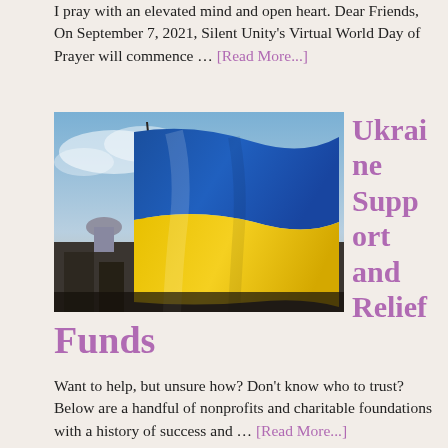I pray with an elevated mind and open heart. Dear Friends, On September 7, 2021, Silent Unity's Virtual World Day of Prayer will commence … [Read More...]
[Figure (photo): Photograph of a monument/statue with a large Ukrainian flag (blue and yellow) waving in the foreground against a dramatic sky with a city below.]
Ukraine Support and Relief Funds
Want to help, but unsure how? Don't know who to trust? Below are a handful of nonprofits and charitable foundations with a history of success and … [Read More...]